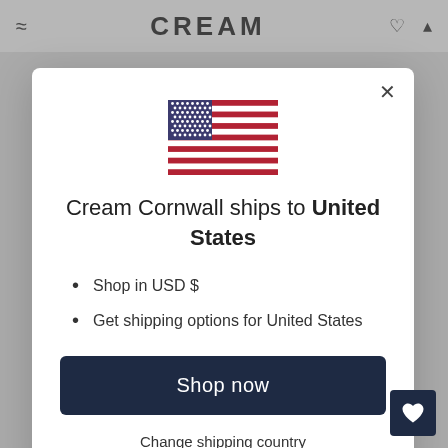[Figure (screenshot): Website header background with CREAM logo text and navigation icons (menu, heart, bag) on grey background]
[Figure (illustration): US flag SVG illustration centered in modal]
Cream Cornwall ships to United States
Shop in USD $
Get shipping options for United States
Shop now
Change shipping country